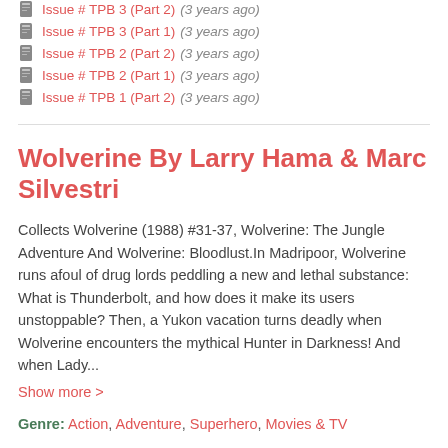Issue # TPB 3 (Part 2) (3 years ago)
Issue # TPB 3 (Part 1) (3 years ago)
Issue # TPB 2 (Part 2) (3 years ago)
Issue # TPB 2 (Part 1) (3 years ago)
Issue # TPB 1 (Part 2) (3 years ago)
Wolverine By Larry Hama & Marc Silvestri
Collects Wolverine (1988) #31-37, Wolverine: The Jungle Adventure And Wolverine: Bloodlust.In Madripoor, Wolverine runs afoul of drug lords peddling a new and lethal substance: What is Thunderbolt, and how does it make its users unstoppable? Then, a Yukon vacation turns deadly when Wolverine encounters the mythical Hunter in Darkness! And when Lady...
Show more >
Genre: Action, Adventure, Superhero, Movies & TV